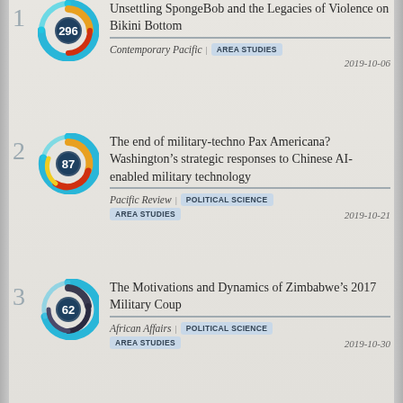Unsettling SpongeBob and the Legacies of Violence on Bikini Bottom
The end of military-techno Pax Americana? Washington’s strategic responses to Chinese AI-enabled military technology
The Motivations and Dynamics of Zimbabwe’s 2017 Military Coup